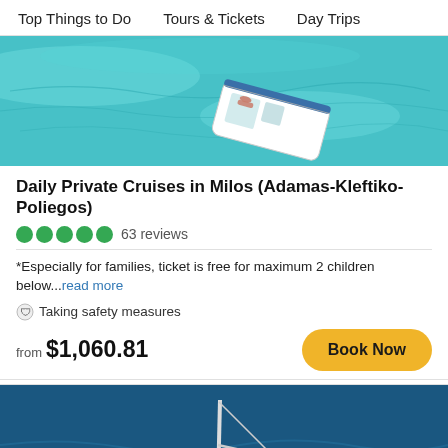Top Things to Do   Tours & Tickets   Day Trips
[Figure (photo): Aerial view of a white boat on turquoise clear water with a person sunbathing]
Daily Private Cruises in Milos (Adamas-Kleftiko-Poliegos)
63 reviews
*Especially for families, ticket is free for maximum 2 children below...read more
Taking safety measures
from $1,060.81
[Figure (photo): Aerial view of a white sailing catamaran on deep blue ocean water]